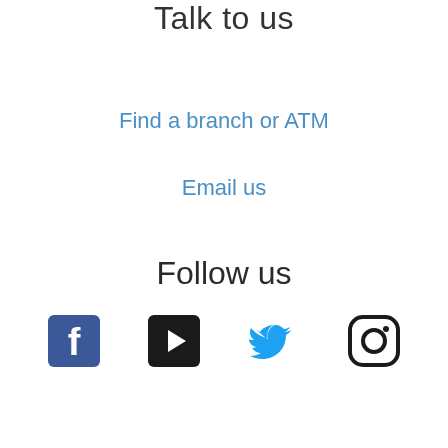Talk to us
Find a branch or ATM
Email us
Follow us
[Figure (illustration): Social media icons: Facebook, YouTube, Twitter, Instagram]